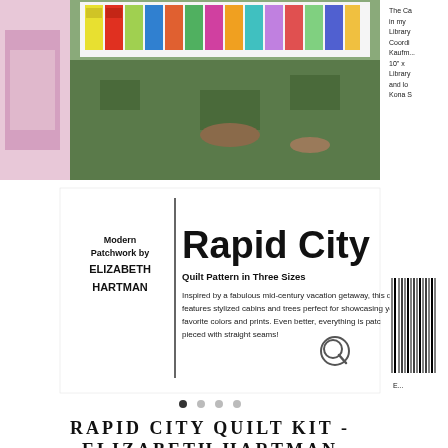[Figure (photo): Top portion: outdoor photo of a quilt pattern banner displayed on grass, with colorful fabric swatches. Left edge shows partial pink/purple image. Right edge shows partial text from adjacent product listing.]
[Figure (photo): Quilt pattern book cover for 'Rapid City' by Elizabeth Hartman — Modern Patchwork. Subtitle: Quilt Pattern in Three Sizes. Description text about the pattern. Search/magnify icon visible.]
The Ca... in my Library... Coordi... Kaufm... 10" x ... Library... and lo... Kona S...
● ○ ○ ○
RAPID CITY QUILT KIT - ELIZABETH HARTMAN
£160.00
Tax included.
QUANTITY